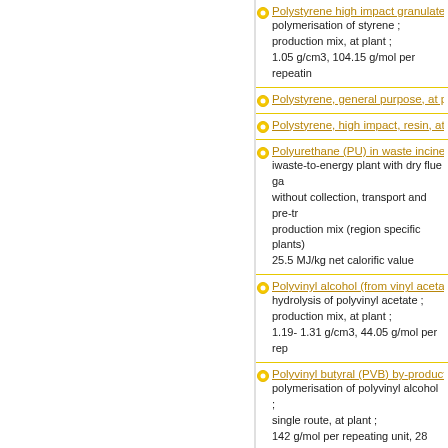Polystyrene high impact granulate (HI...
polymerisation of styrene ;
production mix, at plant ;
1.05 g/cm3, 104.15 g/mol per repeating...
Polystyrene, general purpose, at plant...
Polystyrene, high impact, resin, at pla...
Polyurethane (PU) in waste incineration...
iwaste-to-energy plant with dry flue ga...
without collection, transport and pre-tr...
production mix (region specific plants)...
25.5 MJ/kg net calorific value
Polyvinyl alcohol (from vinyl acetate) (...
hydrolysis of polyvinyl acetate ;
production mix, at plant ;
1.19- 1.31 g/cm3, 44.05 g/mol per rep...
Polyvinyl butyral (PVB) by-product eth...
polymerisation of polyvinyl alcohol ;
single route, at plant ;
142 g/mol per repeating unit, 28 MJ/kg...
Polyvinyl chloride (PVC) in waste incin...
waste-to-energy plant with dry flue ga...
without collection, transport and pre-tr...
production mix (region specific plants)...
18.0 MJ/kg net calorific value
Polyvinyl chloride granulate (Suspens...
polymerisation of vinyl chloride ;